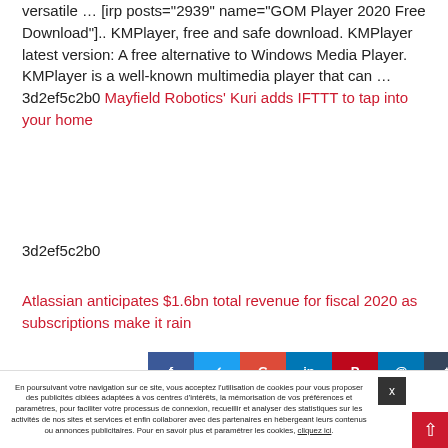versatile … [irp posts="2939" name="GOM Player 2020 Free Download"].. KMPlayer, free and safe download. KMPlayer latest version: A free alternative to Windows Media Player. KMPlayer is a well-known multimedia player that can … 3d2ef5c2b0 Mayfield Robotics' Kuri adds IFTTT to tap into your home
3d2ef5c2b0
Atlassian anticipates $1.6bn total revenue for fiscal 2020 as subscriptions make it rain
[Figure (other): Row of social media share buttons (Facebook, Twitter, Google+, LinkedIn, Pinterest, email, Tumblr, WhatsApp, Messenger)]
En poursuivant votre navigation sur ce site, vous acceptez l'utilisation de cookies pour vous proposer des publicités ciblées adaptées à vos centres d'intérêts, la mémorisation de vos préférences et paramètres, pour faciliter votre processus de connexion, recueillir et analyser des statistiques sur les activités de nos sites et services et enfin collaborer avec des partenaires en hébergeant leurs contenus ou annonces publicitaires. Pour en savoir plus et paramétrer les cookies, cliquez ici.